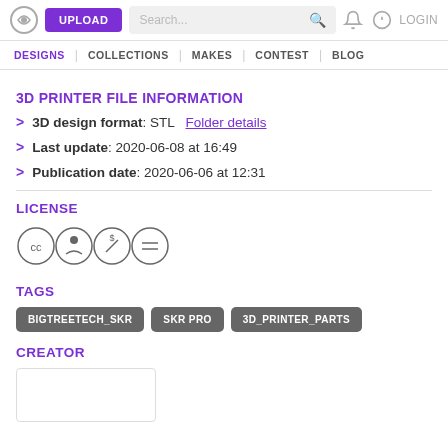UPLOAD | Search... | LOGIN
DESIGNS | COLLECTIONS | MAKES | CONTEST | BLOG
3D PRINTER FILE INFORMATION
> 3D design format: STL  Folder details
> Last update: 2020-06-08 at 16:49
> Publication date: 2020-06-06 at 12:31
LICENSE
[Figure (other): Creative Commons license icons: CC BY-NC-ND]
TAGS
BIGTREETECH_SKR
SKR PRO
3D_PRINTER_PARTS
CREATOR
[Figure (other): Creator profile image placeholder box]